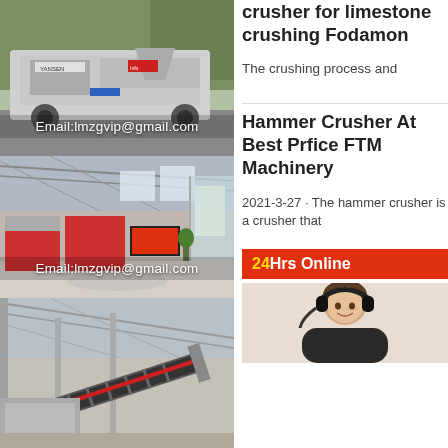[Figure (photo): Mobile rock crusher machine outdoors with trees in background, watermark Email:lmzgvip@gmail.com]
crusher for limestone crushing Fodamon
The crushing process and
[Figure (photo): Industrial factory floor with crusher equipment on display, watermark Email:lmzgvip@gmail.com]
Hammer Crusher At Best Prfice FTM Machinery
2021-3-27 · The hammer crusher is a crusher that
[Figure (photo): Industrial conveyor belt crusher equipment inside a factory building]
[Figure (photo): 24Hrs Online customer service agent with headset, woman smiling]
24Hrs Online